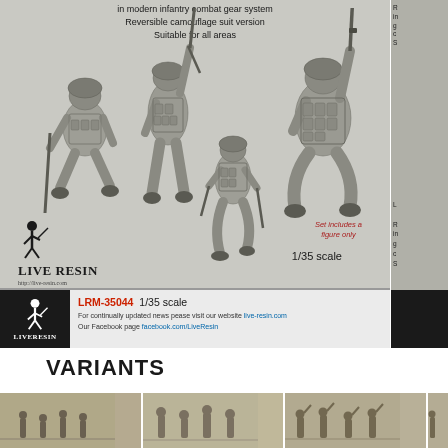[Figure (photo): Live Resin LRM-35044 1/35 scale model kit product image showing military infantry figures in modern combat gear with reversible camouflage suits, carrying rifles, shown in multiple poses. Text overlay reads: 'in modern infantry combat gear system / Reversible camouflage suit version / Suitable for all areas'. Bottom info bar shows LiveResin logo, model number LRM-35044, scale 1/35, website live-resin.com and Facebook page.]
[Figure (photo): Partially visible second product image on the right edge showing similar military figures and partial LiveResin branding.]
VARIANTS
[Figure (photo): Three variant thumbnail images showing different military figure sets/poses, partially cut off at bottom of page.]